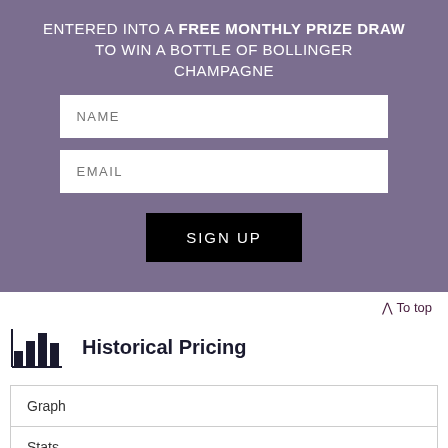ENTERED INTO A FREE MONTHLY PRIZE DRAW TO WIN A BOTTLE OF BOLLINGER CHAMPAGNE
NAME
EMAIL
SIGN UP
∧ To top
Historical Pricing
| Graph |
| Stats |
| Graph |